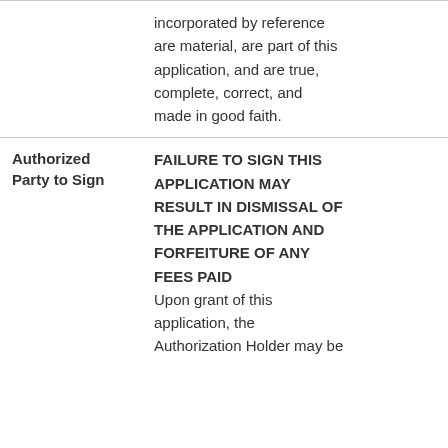|  | incorporated by reference are material, are part of this application, and are true, complete, correct, and made in good faith. |  |
| Authorized Party to Sign | FAILURE TO SIGN THIS APPLICATION MAY RESULT IN DISMISSAL OF THE APPLICATION AND FORFEITURE OF ANY FEES PAID
Upon grant of this application, the Authorization Holder may be |  |